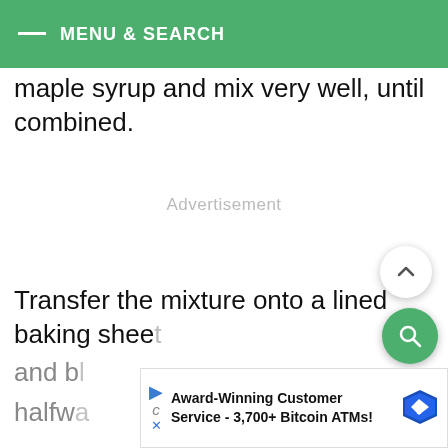MENU & SEARCH
maple syrup and mix very well, until combined.
Advertisement
Transfer the mixture onto a lined baking sheet
and b...
halfw...
[Figure (screenshot): Advertisement banner: Award-Winning Customer Service - 3,700+ Bitcoin ATMs! with blue diamond arrow icon]